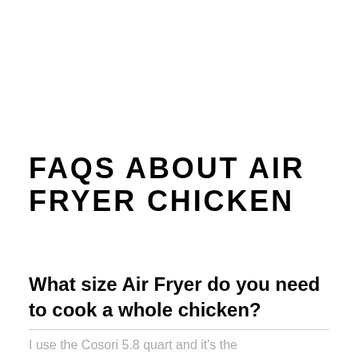FAQS ABOUT AIR FRYER CHICKEN
What size Air Fryer do you need to cook a whole chicken?
I use the Cosori 5.8 quart and it's the perfect size for a 4 lb. air fryer chicken.